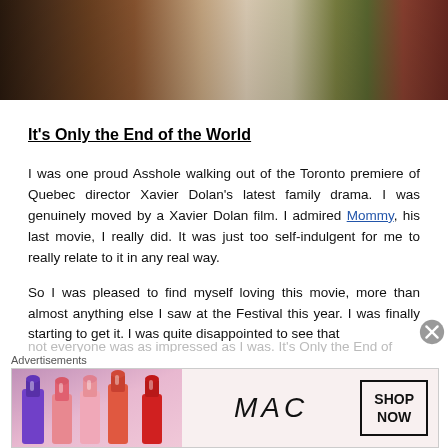[Figure (photo): Cropped photo showing clothing/fabric items on a table, partially visible at top of page]
It's Only the End of the World
I was one proud Asshole walking out of the Toronto premiere of Quebec director Xavier Dolan's latest family drama. I was genuinely moved by a Xavier Dolan film. I admired Mommy, his last movie, I really did. It was just too self-indulgent for me to really relate to it in any real way.
So I was pleased to find myself loving this movie, more than almost anything else I saw at the Festival this year. I was finally starting to get it. I was quite disappointed to see that not everyone was as impressed as I was. It's Only the End of
[Figure (photo): MAC Cosmetics advertisement showing lipsticks and SHOP NOW button]
Advertisements